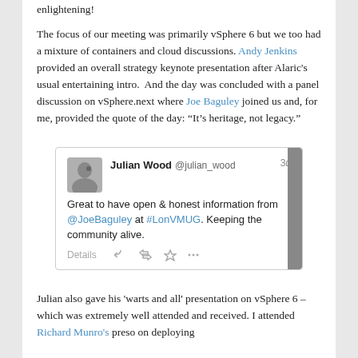enlightening!
The focus of our meeting was primarily vSphere 6 but we too had a mixture of containers and cloud discussions. Andy Jenkins provided an overall strategy keynote presentation after Alaric's usual entertaining intro.  And the day was concluded with a panel discussion on vSphere.next where Joe Baguley joined us and, for me, provided the quote of the day: “It’s heritage, not legacy.”
[Figure (screenshot): Screenshot of a tweet by Julian Wood (@julian_wood), posted 3d ago: 'Great to have open & honest information from @JoeBaguley at #LonVMUG. Keeping the community alive.' With Details and action icons below.]
Julian also gave his 'warts and all' presentation on vSphere 6 – which was extremely well attended and received. I attended Richard Munro’s preso on deploying